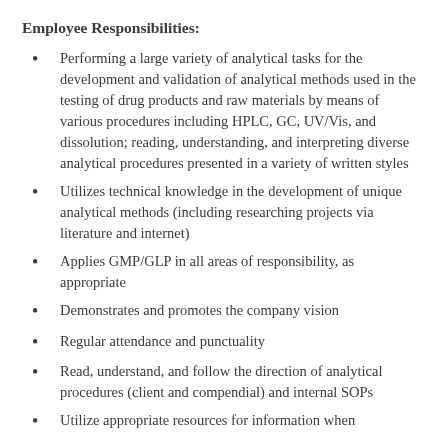Employee Responsibilities:
Performing a large variety of analytical tasks for the development and validation of analytical methods used in the testing of drug products and raw materials by means of various procedures including HPLC, GC, UV/Vis, and dissolution; reading, understanding, and interpreting diverse analytical procedures presented in a variety of written styles
Utilizes technical knowledge in the development of unique analytical methods (including researching projects via literature and internet)
Applies GMP/GLP in all areas of responsibility, as appropriate
Demonstrates and promotes the company vision
Regular attendance and punctuality
Read, understand, and follow the direction of analytical procedures (client and compendial) and internal SOPs
Utilize appropriate resources for information when